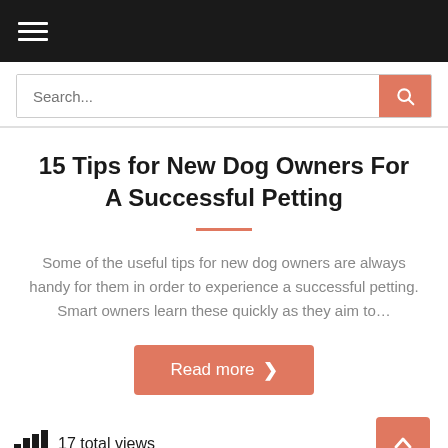Navigation menu (hamburger icon)
Search...
15 Tips for New Dog Owners For A Successful Petting
Some of the useful tips for new dog owners are always handy for them in order to experience a successful petting. Smart owners learn these quickly as they aim to…
Read more
17 total views